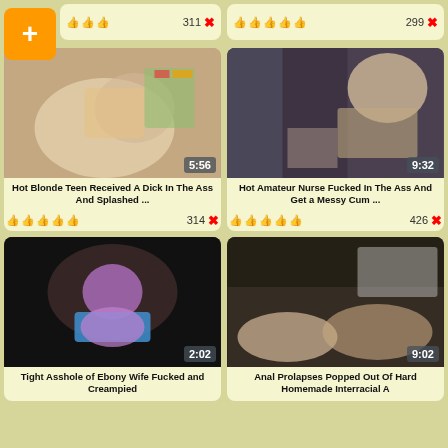[Figure (screenshot): Video thumbnail grid showing adult video site with 4 video cards and partial top row]
Hot Blonde Teen Received A Dick In The Ass And Splashed ...
Hot Amateur Nurse Fucked In The Ass And Get a Messy Cum ...
Tight Asshole of Ebony Wife Fucked and Creampied
Anal Prolapses Popped Out Of Hard Homemade Interracial A